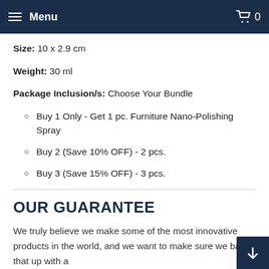Material: Plastic bottle  Menu  0
Size: 10 x 2.9 cm
Weight: 30 ml
Package Inclusion/s: Choose Your Bundle
Buy 1 Only - Get 1 pc. Furniture Nano-Polishing Spray
Buy 2 (Save 10% OFF) - 2 pcs.
Buy 3 (Save 15% OFF) - 3 pcs.
OUR GUARANTEE
We truly believe we make some of the most innovative products in the world, and we want to make sure we back that up with a